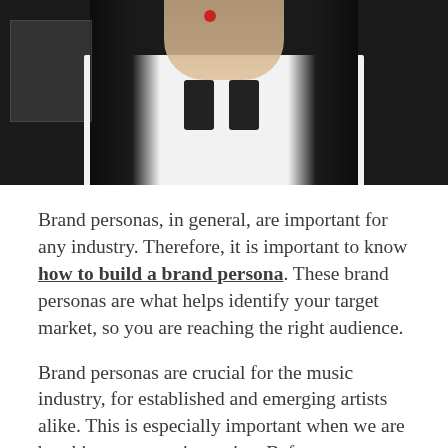[Figure (photo): Photo of a person wearing a white graphic t-shirt with dark logo/design, dark hair, against a dark background with other people/garments visible]
Brand personas, in general, are important for any industry. Therefore, it is important to know how to build a brand persona. These brand personas are what helps identify your target market, so you are reaching the right audience.
Brand personas are crucial for the music industry, for established and emerging artists alike. This is especially important when we are breaking an emerging artist. Before we even think about putting out an emerging artist's music, we study the market on current successful artists and their fan bases. This allows us to see where the new artist would be most relevant. To be able to create a brand persona we